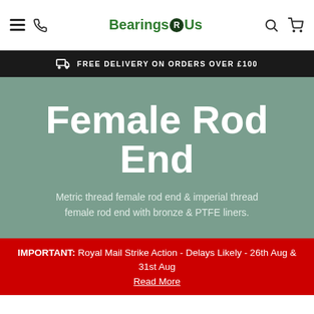Bearings R Us — navigation bar with menu, phone, search, cart
FREE DELIVERY ON ORDERS OVER £100
Female Rod End
Metric thread female rod end & imperial thread female rod end with bronze & PTFE liners.
IMPORTANT: Royal Mail Strike Action - Delays Likely - 26th Aug & 31st Aug
Read More